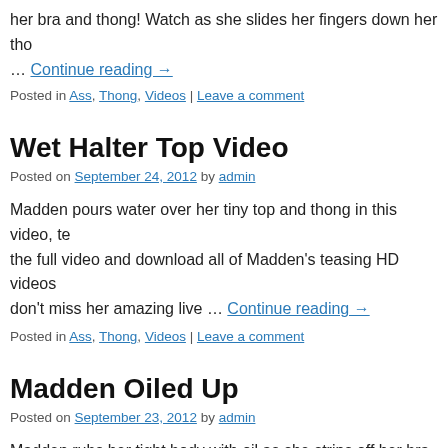her bra and thong! Watch as she slides her fingers down her tho… Continue reading →
Posted in Ass, Thong, Videos | Leave a comment
Wet Halter Top Video
Posted on September 24, 2012 by admin
Madden pours water over her tiny top and thong in this video, te the full video and download all of Madden's teasing HD videos don't miss her amazing live … Continue reading →
Posted in Ass, Thong, Videos | Leave a comment
Madden Oiled Up
Posted on September 23, 2012 by admin
Madden rubs her tight body with oil as she strips off her bra. Sh thong showing off that tight little ass! See the rest of this brand